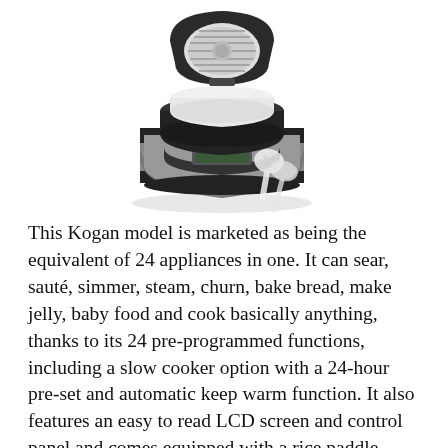[Figure (photo): A black and silver Kogan multi-cooker appliance with the lid open, showing an inner pot and control panel, with a white rice paddle and ladle accessory in the foreground.]
This Kogan model is marketed as being the equivalent of 24 appliances in one. It can sear, sauté, simmer, steam, churn, bake bread, make jelly, baby food and cook basically anything, thanks to its 24 pre-programmed functions, including a slow cooker option with a 24-hour pre-set and automatic keep warm function. It also features an easy to read LCD screen and control panel and comes equipped with a rice paddle, ladle, measuring cup and recipe book. This multi-dish cooker